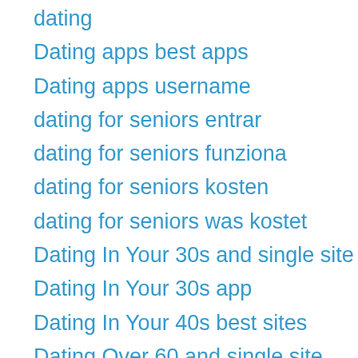dating
Dating apps best apps
Dating apps username
dating for seniors entrar
dating for seniors funziona
dating for seniors kosten
dating for seniors was kostet
Dating In Your 30s and single site
Dating In Your 30s app
Dating In Your 40s best sites
Dating Over 60 and single site
Dating Over 60 sites
dating sites
Dating Tips
dating de was kostet